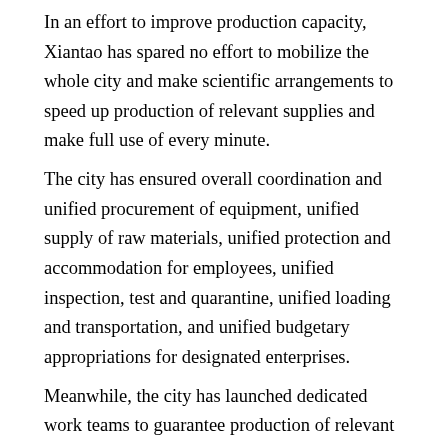In an effort to improve production capacity, Xiantao has spared no effort to mobilize the whole city and make scientific arrangements to speed up production of relevant supplies and make full use of every minute.
The city has ensured overall coordination and unified procurement of equipment, unified supply of raw materials, unified protection and accommodation for employees, unified inspection, test and quarantine, unified loading and transportation, and unified budgetary appropriations for designated enterprises.
Meanwhile, the city has launched dedicated work teams to guarantee production of relevant supplies. Each team has been stationed in one local factory to organize production on site. According to Yan Zhichao, deputy mayor of